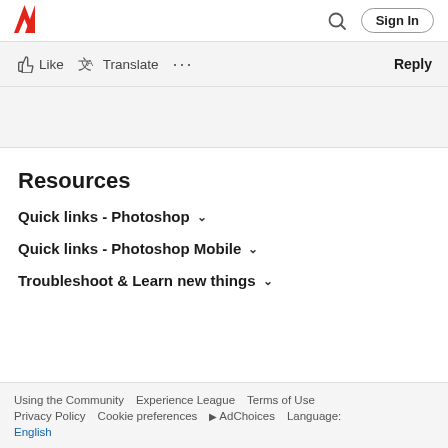Adobe logo | Search | Sign In
Like  Translate  ...  Reply
Resources
Quick links - Photoshop
Quick links - Photoshop Mobile
Troubleshoot & Learn new things
Using the Community   Experience League   Terms of Use   Privacy Policy   Cookie preferences   ▷AdChoices   Language:   English